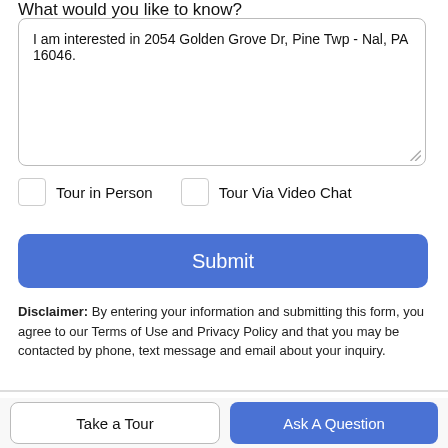What would you like to know?
I am interested in 2054 Golden Grove Dr, Pine Twp - Nal, PA 16046.
Tour in Person
Tour Via Video Chat
Submit
Disclaimer: By entering your information and submitting this form, you agree to our Terms of Use and Privacy Policy and that you may be contacted by phone, text message and email about your inquiry.
Take a Tour
Ask A Question